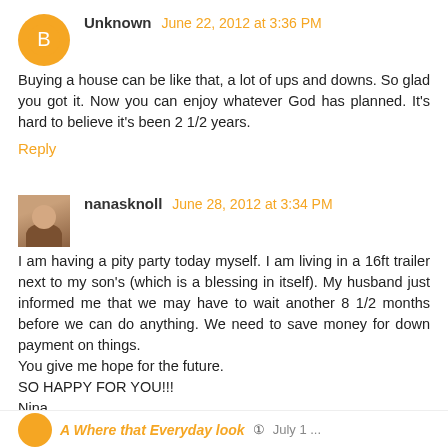Unknown June 22, 2012 at 3:36 PM
Buying a house can be like that, a lot of ups and downs. So glad you got it. Now you can enjoy whatever God has planned. It's hard to believe it's been 2 1/2 years.
Reply
nanasknoll June 28, 2012 at 3:34 PM
I am having a pity party today myself. I am living in a 16ft trailer next to my son's (which is a blessing in itself). My husband just informed me that we may have to wait another 8 1/2 months before we can do anything. We need to save money for down payment on things.
You give me hope for the future.
SO HAPPY FOR YOU!!!
Nina
Reply
Replies